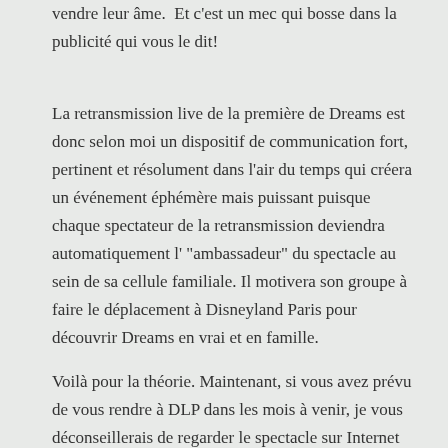vendre leur âme. Et c'est un mec qui bosse dans la publicité qui vous le dit!
La retransmission live de la première de Dreams est donc selon moi un dispositif de communication fort, pertinent et résolument dans l'air du temps qui créera un événement éphémère mais puissant puisque chaque spectateur de la retransmission deviendra automatiquement l' "ambassadeur" du spectacle au sein de sa cellule familiale. Il motivera son groupe à faire le déplacement à Disneyland Paris pour découvrir Dreams en vrai et en famille.
Voilà pour la théorie. Maintenant, si vous avez prévu de vous rendre à DLP dans les mois à venir, je vous déconseillerais de regarder le spectacle sur Internet pour